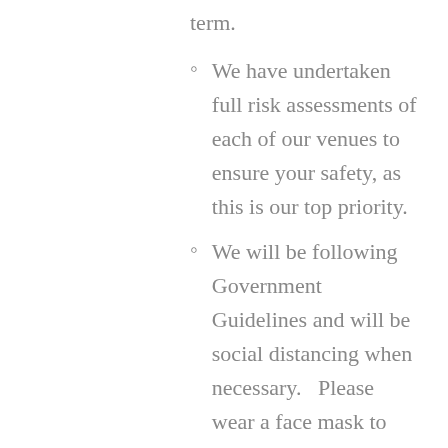term.
We have undertaken full risk assessments of each of our venues to ensure your safety, as this is our top priority.
We will be following Government Guidelines and will be social distancing when necessary.   Please wear a face mask to class, if you wish. We want you to feel comfortable. We may also take your temperature on arrival.
The classes last for 45 minutes (although sometimes they run a